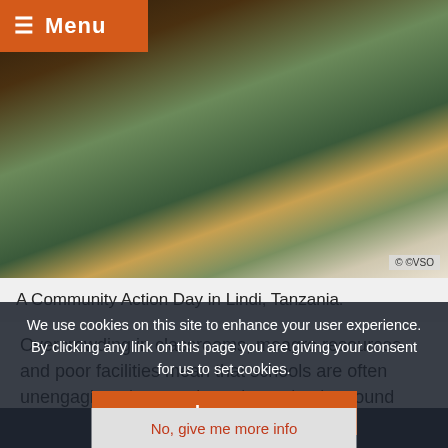☰ Menu
[Figure (photo): People gathered around a table at a Community Action Day in Lindi, Tanzania. A woman in a hijab is visible in the foreground.]
A Community Action Day in Lindi, Tanzania.
Overcrowding in classrooms, meagre resources and poor facilities mean that schools are often unengaging places to learn in, and only around half of children pass their maths exams in year seven.
VSO ICS volunteers have been taking part a range of educational projects since 2015. Volunteers in districts from Bukoba to Kamachumu are engaging children, teachers and parents in an ... sports days,
We use cookies on this site to enhance your user experience. By clicking any link on this page you are giving your consent for us to set cookies.
I agree
No, give me more info